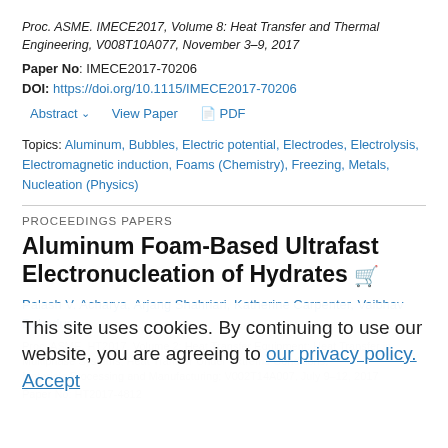Proc. ASME. IMECE2017, Volume 8: Heat Transfer and Thermal Engineering, V008T10A077, November 3–9, 2017
Paper No: IMECE2017-70206
DOI: https://doi.org/10.1115/IMECE2017-70206
Abstract ∨   View Paper   🖹 PDF
Topics: Aluminum, Bubbles, Electric potential, Electrodes, Electrolysis, Electromagnetic induction, Foams (Chemistry), Freezing, Metals, Nucleation (Physics)
PROCEEDINGS PAPERS
Aluminum Foam-Based Ultrafast Electronucleation of Hydrates
Palash V. Acharya, Arjang Shahriari, Katherine Carpenter, Vaibhav Bahadur
This site uses cookies. By continuing to use our website, you are agreeing to our privacy policy. Accept